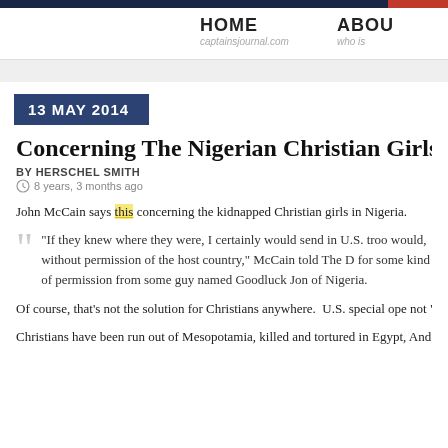HOME captainsjournal.com | ABOU who is
13 MAY 2014
Concerning The Nigerian Christian Girls
BY HERSCHEL SMITH
8 years, 3 months ago
John McCain says this concerning the kidnapped Christian girls in Nigeria.
“If they knew where they were, I certainly would send in U.S. troo would, without permission of the host country,” McCain told The D for some kind of permission from some guy named Goodluck Jon of Nigeria.
Of course, that’s not the solution for Christians anywhere.  U.S. special ope not “forces”), cannot and should not be the moral conscience of the world.
Christians have been run out of Mesopotamia, killed and tortured in Egypt, And the evil leader of this Islamic group in Nigeria claims that he has conv